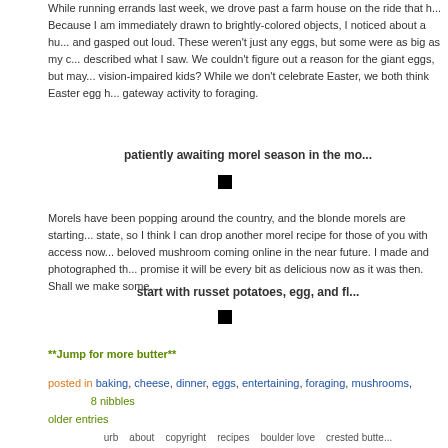While running errands last week, we drove past a farm house on the ride that... Because I am immediately drawn to brightly-colored objects, I noticed about a hu... and gasped out loud. These weren't just any eggs, but some were as big as my c... described what I saw. We couldn't figure out a reason for the giant eggs, but may... vision-impaired kids? While we don't celebrate Easter, we both think Easter egg h... gateway activity to foraging.
patiently awaiting morel season in the mo...
Morels have been popping around the country, and the blonde morels are starting... state, so I think I can drop another morel recipe for those of you with access now... beloved mushroom coming online in the near future. I made and photographed th... promise it will be every bit as delicious now as it was then. Shall we make some...
start with russet potatoes, egg, and fl...
**Jump for more butter**
posted in baking, cheese, dinner, eggs, entertaining, foraging, mushrooms, ... 8 nibbles
older entries
urb   about   copyright   recipes   boulder love   crested butte...